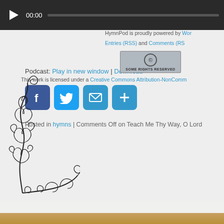[Figure (screenshot): Audio podcast player bar with play button, 00:00 timestamp, and progress bar on dark background]
Podcast: Play in new window | Download
[Figure (infographic): Social sharing buttons: Facebook, Twitter, Email, More (+ icon), all in blue rounded squares]
Posted in hymns | Comments Off on Teach Me Thy Way, O Lord
HymnPod is proudly powered by Wor... Entries (RSS) and Comments (RS...
[Figure (logo): Creative Commons Some Rights Reserved badge - grey badge with CC circle icon]
This work is licensed under a Creative Commons Attribution-NonComm...
[Figure (illustration): Decorative black ornamental corner flourish with floral/scroll design]